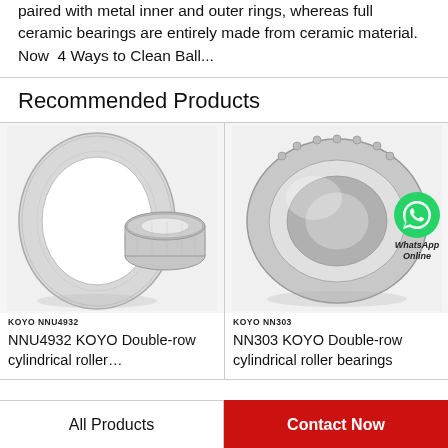paired with metal inner and outer rings, whereas full ceramic bearings are entirely made from ceramic material. Now  4 Ways to Clean Ball...
Recommended Products
[Figure (photo): KOYO NNU4932 double-row cylindrical roller bearing product photo showing two ring components]
KOYO NNU4932
NNU4932 KOYO Double-row cylindrical roller…
[Figure (photo): KOYO NN303 double-row cylindrical roller bearing product photo with WhatsApp Online badge overlay]
KOYO NN303
NN303 KOYO Double-row cylindrical roller bearings
All Products
Contact Now